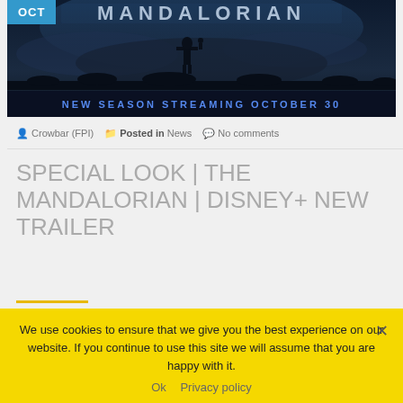[Figure (photo): The Mandalorian promotional banner with dark sky background, silhouetted figure, large MANDALORIAN title text, and blue banner reading 'NEW SEASON STREAMING OCTOBER 30'. An OCT badge in blue is in the top-left corner.]
Crowbar (FPI)  Posted in News  No comments
SPECIAL LOOK | THE MANDALORIAN | DISNEY+ NEW TRAILER
The next chapter begins. Start streaming the new season of #TheMandalorian Oct. 30 on
We use cookies to ensure that we give you the best experience on our website. If you continue to use this site we will assume that you are happy with it.
Ok  Privacy policy